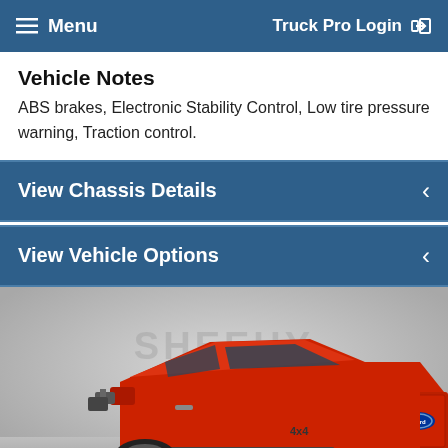Menu   Truck Pro Login
Vehicle Notes
ABS brakes, Electronic Stability Control, Low tire pressure warning, Traction control.
View Chassis Details
View Vehicle Options
[Figure (photo): Rear three-quarter view of a red Ford F-Series heavy-duty pickup truck in a dealership setting with 'SHEEHY It's Easy!' watermark on the background wall.]